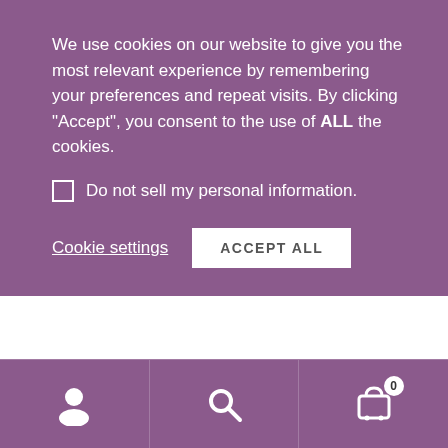We use cookies on our website to give you the most relevant experience by remembering your preferences and repeat visits. By clicking “Accept”, you consent to the use of ALL the cookies.
Do not sell my personal information.
Cookie settings
ACCEPT ALL
[Figure (screenshot): Pinterest Save button overlapping a purple Special Offer badge and a light blue search/content area with a purple icon button on the right]
We are now closed until the 19th August. All orders will processed from Monday 22nd.
Dismiss
[Figure (screenshot): Bottom navigation bar with three icons: user/account icon, search icon, and shopping cart icon with badge showing 0]